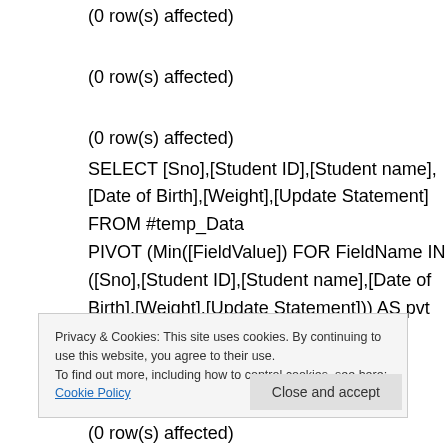(0 row(s) affected)
(0 row(s) affected)
(0 row(s) affected)
SELECT [Sno],[Student ID],[Student name],[Date of Birth],[Weight],[Update Statement]
FROM #temp_Data
PIVOT (Min([FieldValue]) FOR FieldName IN ([Sno],[Student ID],[Student name],[Date of Birth],[Weight],[Update Statement])) AS pvt
Where [Transaction ID] NOT In (Select
Privacy & Cookies: This site uses cookies. By continuing to use this website, you agree to their use.
To find out more, including how to control cookies, see here: Cookie Policy
Close and accept
(0 row(s) affected)